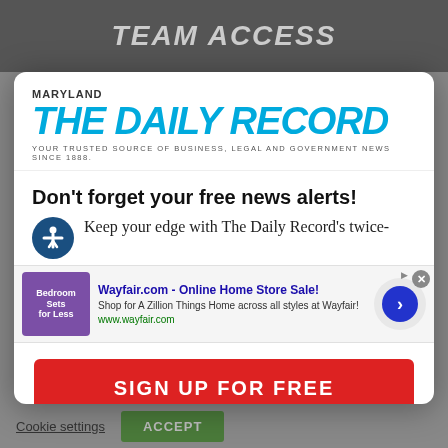[Figure (screenshot): Background of a webpage with a dark 'TEAM ACCESS' banner ad at top and gray background]
MARYLAND
THE DAILY RECORD
YOUR TRUSTED SOURCE OF BUSINESS, LEGAL AND GOVERNMENT NEWS SINCE 1888.
Don't forget your free news alerts!
Keep your edge with The Daily Record's twice-
[Figure (screenshot): Wayfair.com advertisement banner: 'Wayfair.com - Online Home Store Sale! Shop for A Zillion Things Home across all styles at Wayfair! www.wayfair.com' with purple thumbnail image and blue arrow button]
SIGN UP FOR FREE
Cookie settings
ACCEPT